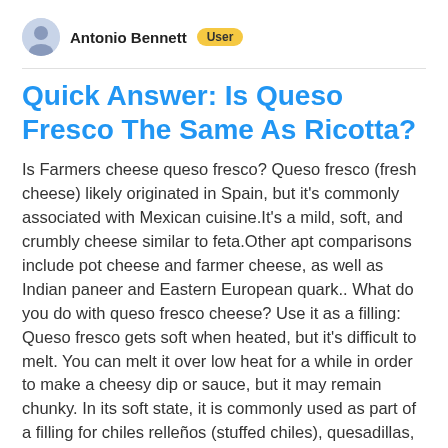Antonio Bennett  User
Quick Answer: Is Queso Fresco The Same As Ricotta?
Is Farmers cheese queso fresco? Queso fresco (fresh cheese) likely originated in Spain, but it's commonly associated with Mexican cuisine.It's a mild, soft, and crumbly cheese similar to feta.Other apt comparisons include pot cheese and farmer cheese, as well as Indian paneer and Eastern European quark.. What do you do with queso fresco cheese? Use it as a filling: Queso fresco gets soft when heated, but it's difficult to melt. You can melt it over low heat for a while in order to make a cheesy dip or sauce, but it may remain chunky. In its soft state, it is commonly used as part of a filling for chiles relleños (stuffed chiles), quesadillas, and burritos. What can I use...